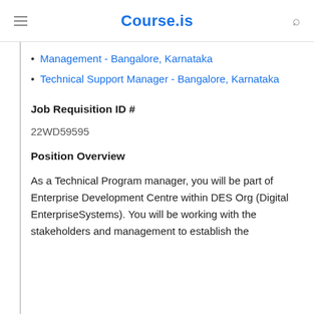Course.is
Management - Bangalore, Karnataka
Technical Support Manager - Bangalore, Karnataka
Job Requisition ID #
22WD59595
Position Overview
As a Technical Program manager, you will be part of Enterprise Development Centre within DES Org (Digital EnterpriseSystems). You will be working with the stakeholders and management to establish the